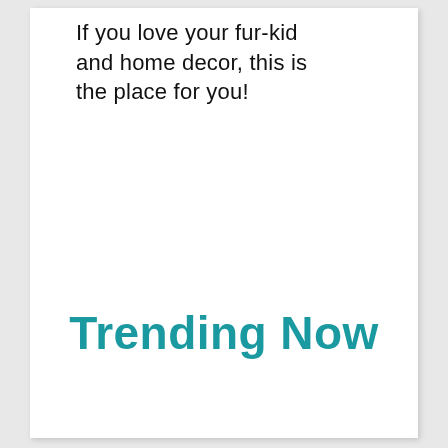If you love your fur-kid and home decor, this is the place for you!
Trending Now